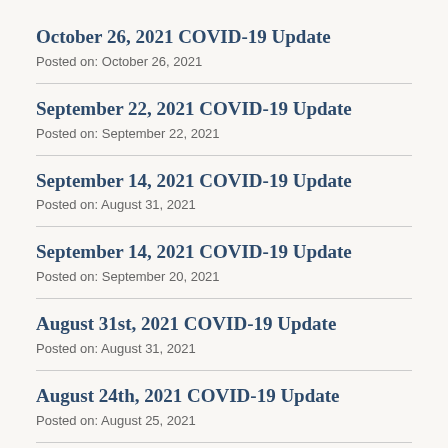October 26, 2021 COVID-19 Update
Posted on: October 26, 2021
September 22, 2021 COVID-19 Update
Posted on: September 22, 2021
September 14, 2021 COVID-19 Update
Posted on: August 31, 2021
September 14, 2021 COVID-19 Update
Posted on: September 20, 2021
August 31st, 2021 COVID-19 Update
Posted on: August 31, 2021
August 24th, 2021 COVID-19 Update
Posted on: August 25, 2021
August 16th, 2021 COVID-19 Update
Posted on: August 16, 2021